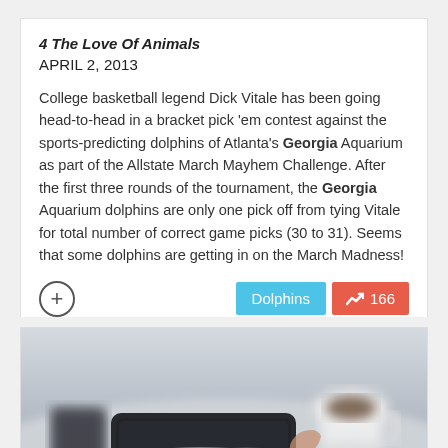4 The Love Of Animals
APRIL 2, 2013
College basketball legend Dick Vitale has been going head-to-head in a bracket pick 'em contest against the sports-predicting dolphins of Atlanta's Georgia Aquarium as part of the Allstate March Mayhem Challenge. After the first three rounds of the tournament, the Georgia Aquarium dolphins are only one pick off from tying Vitale for total number of correct game picks (30 to 31). Seems that some dolphins are getting in on the March Madness!
[Figure (other): Plus button icon (circle with plus sign) and two tags: 'Dolphins' (blue) and '166' count with trending arrow (red)]
[Figure (photo): Blurred photo of hands holding a tablet device on a desk with a coffee cup in the background]